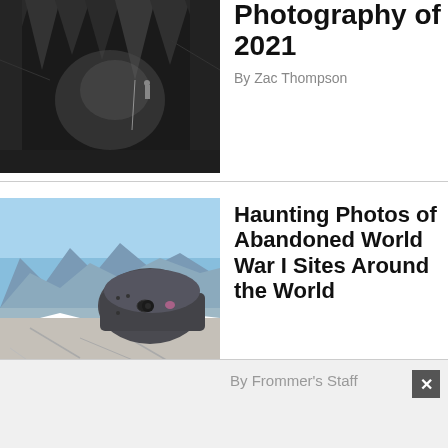[Figure (photo): Black and white photo of a cave interior with stalactites and a person visible in the background]
Underwater Photography of 2021
By Zac Thompson
[Figure (photo): Color photo of a vintage WWII-era military bunker or gun turret on rocky mountain summit with mountain range and blue sky in background]
Haunting Photos of Abandoned World War I Sites Around the World
By Frommer's Staff